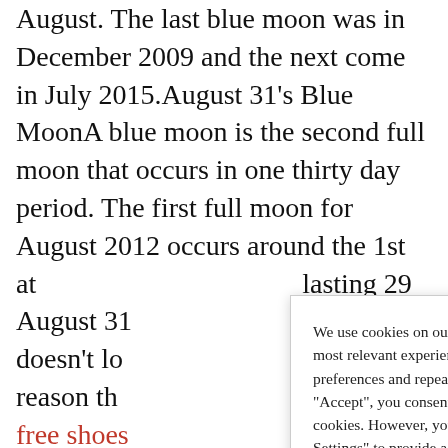August. The last blue moon was in December 2009 and the next come in July 2015.August 31's Blue MoonA blue moon is the second full moon that occurs in one thirty day period. The first full moon for August 2012 occurs around the 1st at lasting 29 August 31 doesn't lo reason th free shoes due to pa the moon August 31 particulat smoke or ash due to wildfire or volcanic
We use cookies on our website to give you the most relevant experience by remembering your preferences and repeat visits. By clicking "Accept", you consent to the use of ALL the cookies. However, you may visit "Cookie Settings" to provide a controlled consent. Review our privacy policy here.